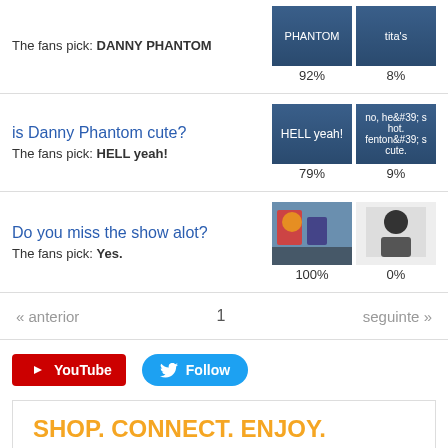The fans pick: DANNY PHANTOM
92%  8%
is Danny Phantom cute?
The fans pick: HELL yeah!
79%  9%
Do you miss the show alot?
The fans pick: Yes.
100%  0%
« anterior  1  seguinte »
[Figure (screenshot): YouTube button and Twitter Follow button]
[Figure (infographic): Ad banner: SHOP. CONNECT. ENJOY. with product images]